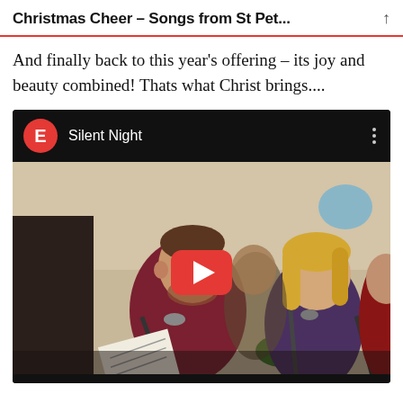Christmas Cheer – Songs from St Pet...
And finally back to this year's offering – its joy and beauty combined!  Thats what Christ brings....
[Figure (screenshot): YouTube video embed showing 'Silent Night' with channel icon E in orange circle, three vertical dots menu, and thumbnail of choir singers at microphones with YouTube play button overlay]